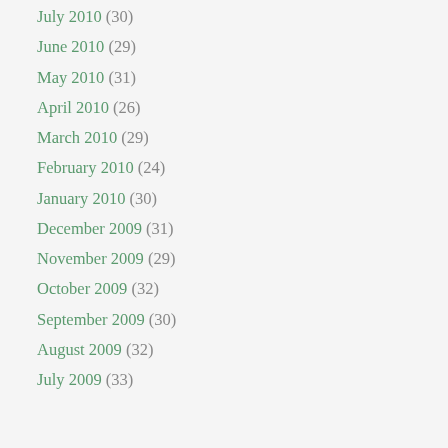July 2010 (30)
June 2010 (29)
May 2010 (31)
April 2010 (26)
March 2010 (29)
February 2010 (24)
January 2010 (30)
December 2009 (31)
November 2009 (29)
October 2009 (32)
September 2009 (30)
August 2009 (32)
July 2009 (33)